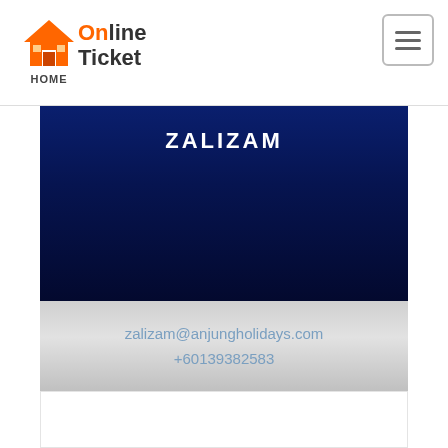Online Ticket — HOME
ZALIZAM
zalizam@anjungholidays.com
+60139382583